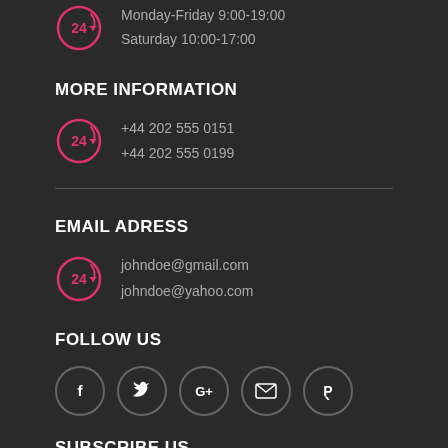Monday-Friday 9:00-19:00
Saturday 10:00-17:00
MORE INFORMATION
+44 202 555 0151
+44 202 555 0199
EMAIL ADRESS
johndoe@gmail.com
johndoe@yahoo.com
FOLLOW US
[Figure (infographic): Five social media icon circles: Facebook (f), Twitter (bird), Google+ (G+), Email (envelope), Pinterest (P)]
SUBSCRIBE US
SIGN UP